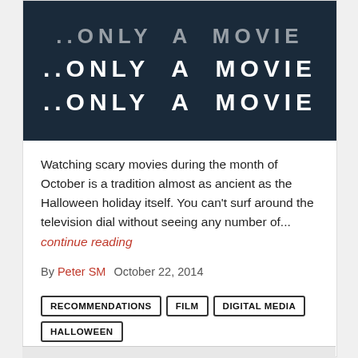[Figure (photo): Dark background image showing white bold text repeating '..ONLY A MOVIE' three times in descending rows, with the top row partially cut off and slightly faded]
Watching scary movies during the month of October is a tradition almost as ancient as the Halloween holiday itself. You can't surf around the television dial without seeing any number of...
continue reading
By Peter SM   October 22, 2014
RECOMMENDATIONS
FILM
DIGITAL MEDIA
HALLOWEEN